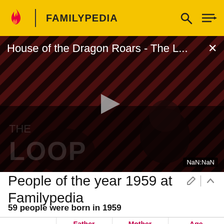FAMILYPEDIA
[Figure (screenshot): Video thumbnail for 'House of the Dragon Roars - The L...' with play button, diagonal red/black stripes background, 'THE LOOP' text overlay, and NaN:NaN timer]
People of the year 1959 at Familypedia
59 people were born in 1959
| Father | Mother | Age |
| --- | --- | --- |